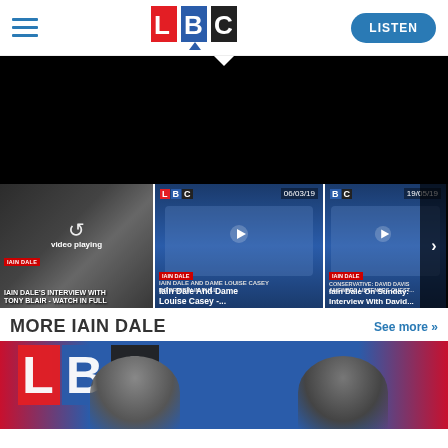[Figure (screenshot): LBC website header with hamburger menu, LBC logo, and LISTEN button]
[Figure (screenshot): Black video player area showing a currently playing video]
[Figure (screenshot): Thumbnail strip with three video thumbnails: 'Iain Dale's Interview With Tony Blair - Watch In Full' (video playing), 'Iain Dale And Dame Louise Casey - ...' (dated 06/03/19), 'Iain Dale On Sunday: Interview With David...' (dated 19/05/19)]
MORE IAIN DALE
See more >>
[Figure (photo): Photo of Iain Dale wearing headphones in front of LBC backdrop with red and blue colors]